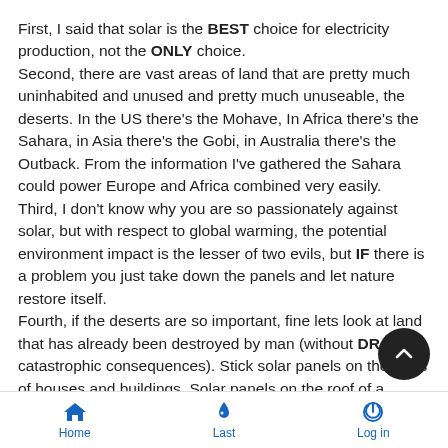First, I said that solar is the BEST choice for electricity production, not the ONLY choice.
Second, there are vast areas of land that are pretty much uninhabited and unused and pretty much unuseable, the deserts. In the US there's the Mohave, In Africa there's the Sahara, in Asia there's the Gobi, in Australia there's the Outback. From the information I've gathered the Sahara could power Europe and Africa combined very easily.
Third, I don't know why you are so passionately against solar, but with respect to global warming, the potential environment impact is the lesser of two evils, but IF there is a problem you just take down the panels and let nature restore itself.
Fourth, if the deserts are so important, fine lets look at land that has already been destroyed by man (without DRASTIC catastrophic consequences). Stick solar panels on the roofs of houses and buildings. Solar panels on the roof of a house take care of about half (on average) of the electric needs of the
Home   Last   Log in